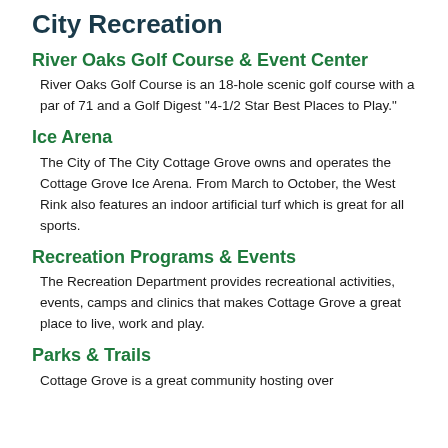City Recreation
River Oaks Golf Course & Event Center
River Oaks Golf Course is an 18-hole scenic golf course with a par of 71 and a Golf Digest "4-1/2 Star Best Places to Play."
Ice Arena
The City of The City Cottage Grove owns and operates the Cottage Grove Ice Arena. From March to October, the West Rink also features an indoor artificial turf which is great for all sports.
Recreation Programs & Events
The Recreation Department provides recreational activities, events, camps and clinics that makes Cottage Grove a great place to live, work and play.
Parks & Trails
Cottage Grove is a great community hosting over